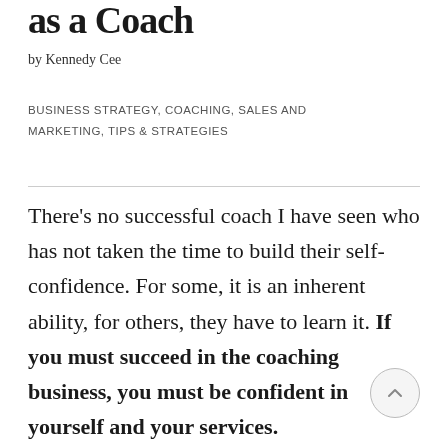as a Coach
by Kennedy Cee
BUSINESS STRATEGY, COACHING, SALES AND MARKETING, TIPS & STRATEGIES
There's no successful coach I have seen who has not taken the time to build their self-confidence. For some, it is an inherent ability, for others, they have to learn it. If you must succeed in the coaching business, you must be confident in yourself and your services.